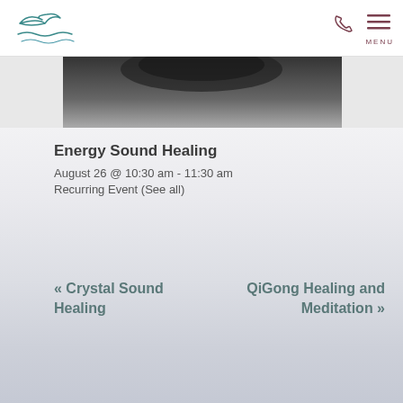[Figure (logo): Bird/wave logo in teal/blue-green color]
[Figure (photo): Close-up photo of singing bowls or sound healing instruments, dark tones]
Energy Sound Healing
August 26 @ 10:30 am - 11:30 am
Recurring Event (See all)
« Crystal Sound Healing
QiGong Healing and Meditation »